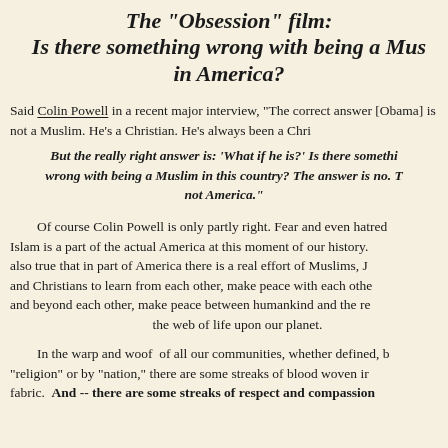The "Obsession" film: Is there something wrong with being a Muslim in America?
Said Colin Powell in a recent major interview, "The correct answer [Obama] is not a Muslim. He's a Christian. He's always been a Christian."
But the really right answer is: 'What if he is?' Is there something wrong with being a Muslim in this country? The answer is no. That's not America."
Of course Colin Powell is only partly right. Fear and even hatred of Islam is a part of the actual America at this moment of our history. It is also true that in part of America there is a real effort of Muslims, Jews, and Christians to learn from each other, make peace with each other and beyond each other, make peace between humankind and the rest of the web of life upon our planet.
In the warp and woof of all our communities, whether defined, by "religion" or by "nation," there are some streaks of blood woven into its fabric. And -- there are some streaks of respect and compassion